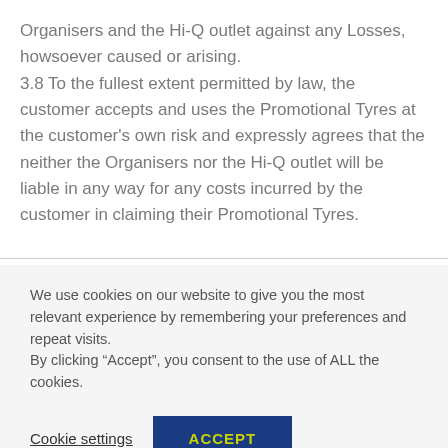Organisers and the Hi-Q outlet against any Losses, howsoever caused or arising. 3.8 To the fullest extent permitted by law, the customer accepts and uses the Promotional Tyres at the customer's own risk and expressly agrees that the neither the Organisers nor the Hi-Q outlet will be liable in any way for any costs incurred by the customer in claiming their Promotional Tyres.
We use cookies on our website to give you the most relevant experience by remembering your preferences and repeat visits. By clicking "Accept", you consent to the use of ALL the cookies.
Cookie settings
ACCEPT